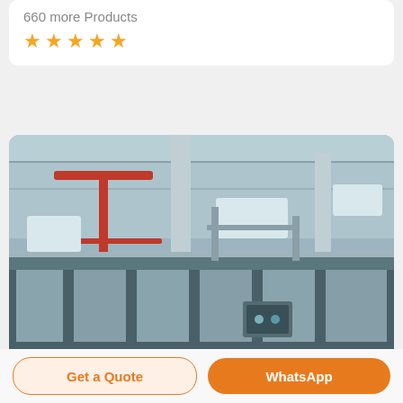660 more Products
[Figure (other): Five orange star rating icons]
[Figure (photo): Interior of an industrial manufacturing facility showing large stainless steel bottling/filling machinery with a warehouse roof structure visible in the background. Red crane visible at upper left.]
Get a Quote
WhatsApp